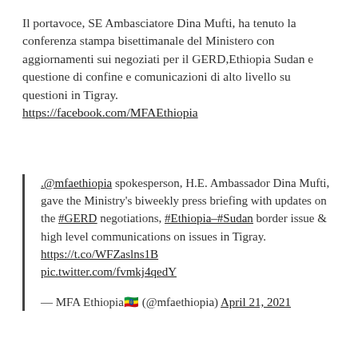Il portavoce, SE Ambasciatore Dina Mufti, ha tenuto la conferenza stampa bisettimanale del Ministero con aggiornamenti sui negoziati per il GERD,Ethiopia Sudan e questione di confine e comunicazioni di alto livello su questioni in Tigray. https://facebook.com/MFAEthiopia
.@mfaethiopia spokesperson, H.E. Ambassador Dina Mufti, gave the Ministry's biweekly press briefing with updates on the #GERD negotiations, #Ethiopia–#Sudan border issue & high level communications on issues in Tigray. https://t.co/WFZaslns1B pic.twitter.com/fvmkj4qedY
— MFA Ethiopia🇪🇹 (@mfaethiopia) April 21, 2021